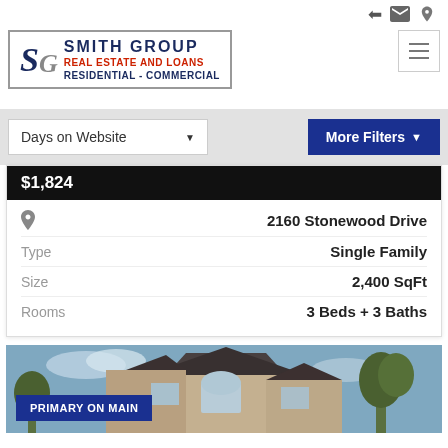[Figure (logo): Smith Group Real Estate and Loans logo with SG monogram, company name in navy blue and red subtitle]
Days on Website
More Filters
$1,824
2160 Stonewood Drive
Type
Single Family
Size
2,400 SqFt
Rooms
3 Beds + 3 Baths
[Figure (photo): Exterior photo of a house with a blue badge reading PRIMARY ON MAIN]